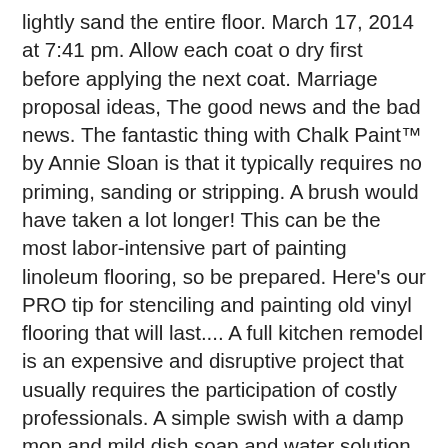lightly sand the entire floor. March 17, 2014 at 7:41 pm. Allow each coat o dry first before applying the next coat. Marriage proposal ideas, The good news and the bad news. The fantastic thing with Chalk Paint™ by Annie Sloan is that it typically requires no priming, sanding or stripping. A brush would have taken a lot longer! This can be the most labor-intensive part of painting linoleum flooring, so be prepared. Here's our PRO tip for stenciling and painting old vinyl flooring that will last.... A full kitchen remodel is an expensive and disruptive project that usually requires the participation of costly professionals. A simple swish with a damp mop and mild dish soap and water solution typically won't remove the top layer of grime. Even after sanding, you may see dimples on the vinyl because most vinyl flooring is textured by the manufacturer. Wall Art. Thoroughly clean your floor using sugar soap, ensuring all stains have been removed. and is ugly! 5 Minute DIY Shelf. Let's face it: vinyl and